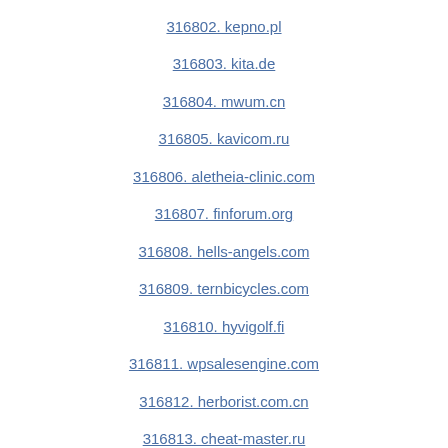316802. kepno.pl
316803. kita.de
316804. mwum.cn
316805. kavicom.ru
316806. aletheia-clinic.com
316807. finforum.org
316808. hells-angels.com
316809. ternbicycles.com
316810. hyvigolf.fi
316811. wpsalesengine.com
316812. herborist.com.cn
316813. cheat-master.ru
316814. astrochicks.com
316815. sonmezocakbasi.com